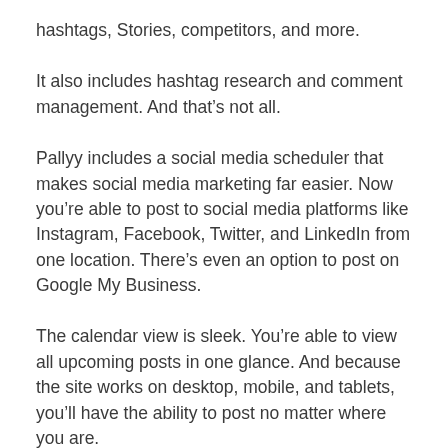hashtags, Stories, competitors, and more.
It also includes hashtag research and comment management. And that’s not all.
Pallyy includes a social media scheduler that makes social media marketing far easier. Now you’re able to post to social media platforms like Instagram, Facebook, Twitter, and LinkedIn from one location. There’s even an option to post on Google My Business.
The calendar view is sleek. You’re able to view all upcoming posts in one glance. And because the site works on desktop, mobile, and tablets, you’ll have the ability to post no matter where you are.